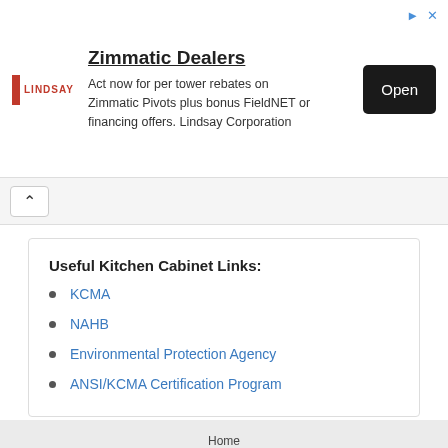[Figure (screenshot): Advertisement banner for Zimmatic Dealers by Lindsay Corporation with logo, text, and Open button]
Useful Kitchen Cabinet Links:
KCMA
NAHB
Environmental Protection Agency
ANSI/KCMA Certification Program
Home
Contact
Find Custom Kitchen Cabinets
Privacy Policy
Terms of Use
© 2022 Custom Kitchen Cabinets. All Rights Reserved.